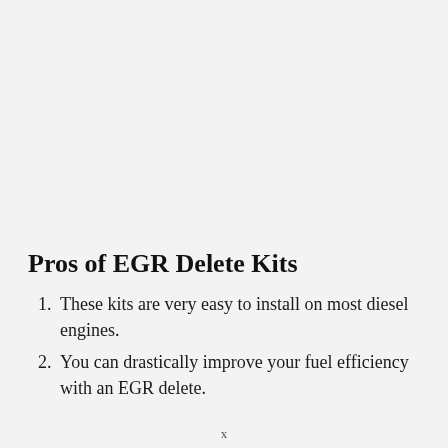Pros of EGR Delete Kits
These kits are very easy to install on most diesel engines.
You can drastically improve your fuel efficiency with an EGR delete.
x